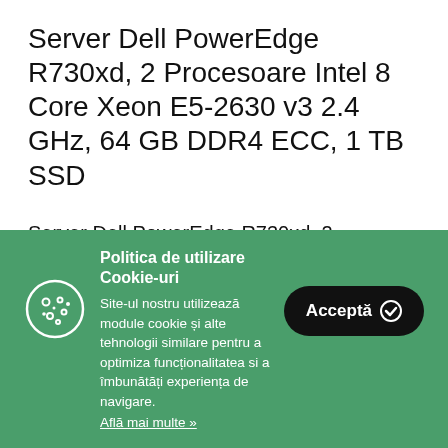Server Dell PowerEdge R730xd, 2 Procesoare Intel 8 Core Xeon E5-2630 v3 2.4 GHz, 64 GB DDR4 ECC, 1 TB SSD
Server Dell PowerEdge R730xd, 2 Procesoare Intel 8 Core Xeon E5-2630 v3
Politica de utilizare Cookie-uri
Site-ul nostru utilizează module cookie și alte tehnologii similare pentru a optimiza funcționalitatea si a îmbunătăți experiența de navigare.
Află mai multe »